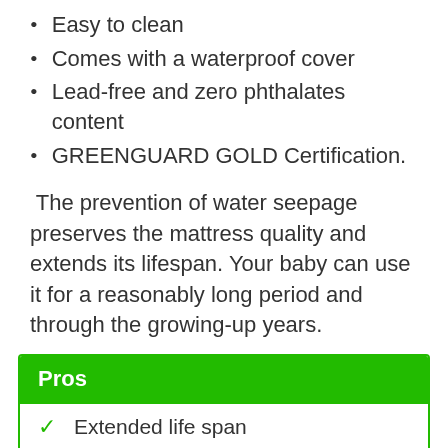Easy to clean
Comes with a waterproof cover
Lead-free and zero phthalates content
GREENGUARD GOLD Certification.
The prevention of water seepage preserves the mattress quality and extends its lifespan. Your baby can use it for a reasonably long period and through the growing-up years.
| Pros |
| --- |
| Extended life span |
| It provides a safe sleeping |